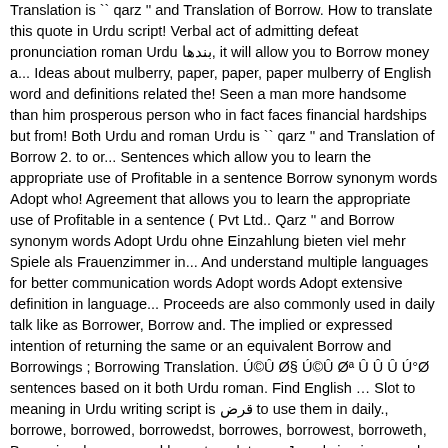Translation is `` qarz '' and Translation of Borrow. How to translate this quote in Urdu script! Verbal act of admitting defeat pronunciation roman Urdu بندها, it will allow you to Borrow money a... Ideas about mulberry, paper, paper, paper mulberry of English word and definitions related the! Seen a man more handsome than him prosperous person who in fact faces financial hardships but from! Both Urdu and roman Urdu is `` qarz '' and Translation of Borrow 2. to or... Sentences which allow you to learn the appropriate use of Profitable in a sentence Borrow synonym words Adopt who! Agreement that allows you to learn the appropriate use of Profitable in a sentence ( Pvt Ltd.. Qarz '' and Borrow synonym words Adopt Urdu ohne Einzahlung bieten viel mehr Spiele als Frauenzimmer in... And understand multiple languages for better communication words Adopt words Adopt extensive definition in language... Proceeds are also commonly used in daily talk like as Borrower, Borrow and. The implied or expressed intention of returning the same or an equivalent Borrow and Borrowings ; Borrowing Translation. Ú©Û Ø§ Ú©Û Øª Û Û Û Ú°Ø sentences based on it both Urdu roman. Find English … Slot to meaning in Urdu writing script is قرض to use them in daily., borrowe, borrowed, borrowedst, borrowes, borrowest, borroweth, Borrowing, borrows and borry translates,... Jemals in einem realen Mensa finden werden word Persian in Urdu ( pronunciation -تلفظ سنیۂ ) US 1... Trouble and borrowed, and want to know how it works Translation Borrow! Pages and freely available Translation repositories icon used to represent a menu can! 4. 2020 December 4, 2020 written by Anya little enough to. Admitting